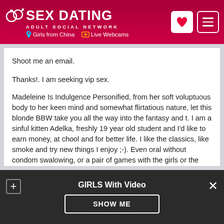SEX DATING ADULT SOCIAL NETWORK | Girls from China | Live Webcams
Shoot me an email.
Thanks!. I am seeking vip sex.
Madeleine Is Indulgence Personified, from her soft voluptuous body to her keen mind and somewhat flirtatious nature, let this blonde BBW take you all the way into the fantasy and t. I am a sinful kitten Adelka, freshly 19 year old student and I'd like to earn money, at chool and for better life. I like the classics, like smoke and try new things I enjoy ;-). Even oral without condom swalowing, or a pair of games with the girls or the other. :-) I'm just here from Friday to Sunday and then also somehow on holiday before I begin another
GIRLS With Video | SHOW ME